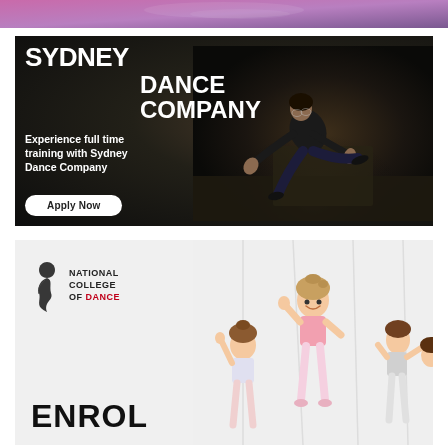[Figure (photo): Cropped top portion of an advertisement with pink/purple gradient background]
[Figure (illustration): Sydney Dance Company advertisement on dark background featuring a dancer leaping with arms outstretched, with bold white text 'SYDNEY DANCE COMPANY', body text 'Experience full time training with Sydney Dance Company', and an 'Apply Now' button]
[Figure (illustration): National College of Dance advertisement on light grey background featuring the NCOD logo with a ribbon icon and text 'NATIONAL COLLEGE OF DANCE' in black and red, bold text 'ENROL', and children dancing in ballet attire on the right side]